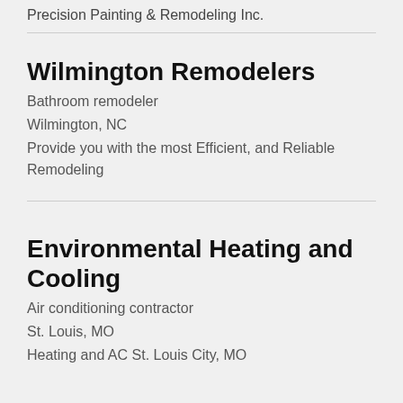Precision Painting & Remodeling Inc.
Wilmington Remodelers
Bathroom remodeler
Wilmington, NC
Provide you with the most Efficient, and Reliable Remodeling
Environmental Heating and Cooling
Air conditioning contractor
St. Louis, MO
Heating and AC St. Louis City, MO